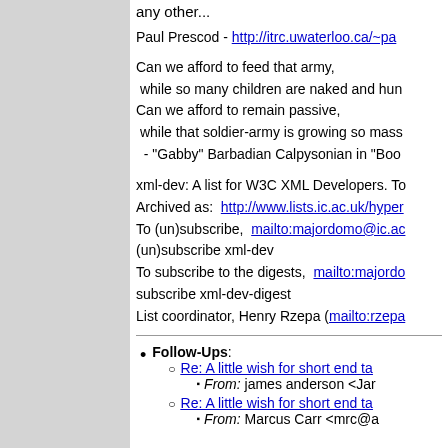any other...
Paul Prescod  -  http://itrc.uwaterloo.ca/~pa
Can we afford to feed that army,
 while so many children are naked and hun
Can we afford to remain passive,
 while that soldier-army is growing so mass
  - "Gabby" Barbadian Calpysonian in "Boo
xml-dev: A list for W3C XML Developers. To
Archived as:  http://www.lists.ic.ac.uk/hyper
To (un)subscribe,  mailto:majordomo@ic.ac
(un)subscribe xml-dev
To subscribe to the digests,  mailto:majordo
subscribe xml-dev-digest
List coordinator, Henry Rzepa (mailto:rzepa
Follow-Ups:
Re: A little wish for short end ta
From:  james anderson <Jan
Re: A little wish for short end ta
From:  Marcus Carr <mrc@a